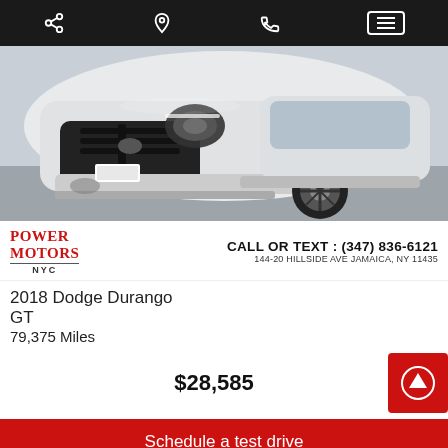[Figure (screenshot): Mobile app navigation bar with share, location, phone, and menu icons on dark background]
[Figure (photo): White 2018 Dodge Durango GT SUV front view]
Power Motors NYC
CALL OR TEXT : (347) 836-6121
144-20 HILLSIDE AVE JAMAICA, NY 11435
2018 Dodge Durango
GT
79,375 Miles
$28,585
Schedule a test drive
WWW.POWERMOTORSNYC.COM